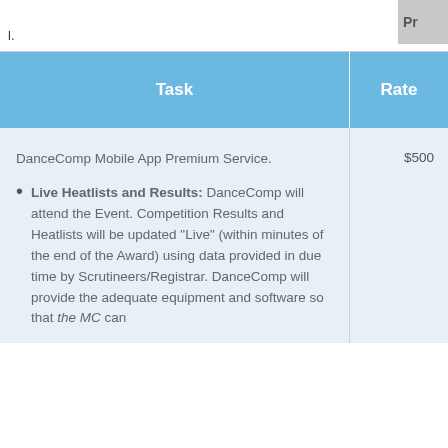l.   Pr
| Task | Rate |
| --- | --- |
| DanceComp Mobile App Premium Service.

Live Heatlists and Results: DanceComp will attend the Event. Competition Results and Heatlists will be updated “Live” (within minutes of the end of the Award) using data provided in due time by Scrutineers/Registrar. DanceComp will provide the adequate equipment and software so that the MC can | $500 |